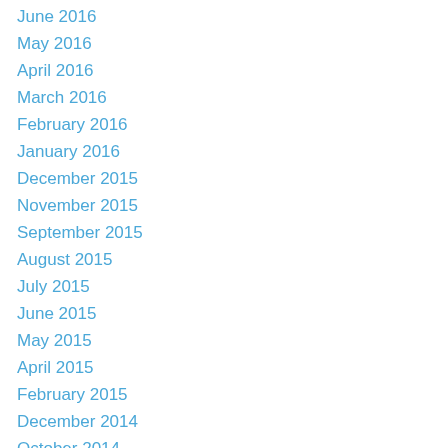June 2016
May 2016
April 2016
March 2016
February 2016
January 2016
December 2015
November 2015
September 2015
August 2015
July 2015
June 2015
May 2015
April 2015
February 2015
December 2014
October 2014
September 2014
August 2014
July 2014